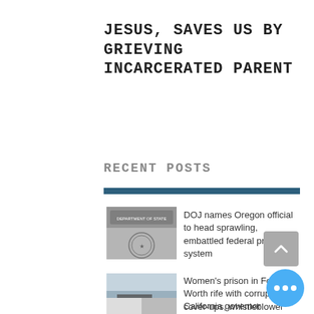JESUS, SAVES US BY GRIEVING INCARCERATED PARENT
RECENT POSTS
[Figure (photo): DOJ official seal and documents photo]
DOJ names Oregon official to head sprawling, embattled federal prison system
[Figure (photo): Women's prison exterior in Fort Worth]
Women's prison in Fort Worth rife with corruption, cover-ups, whistleblower says
[Figure (photo): California governor photo thumbnail]
California governor pardons...